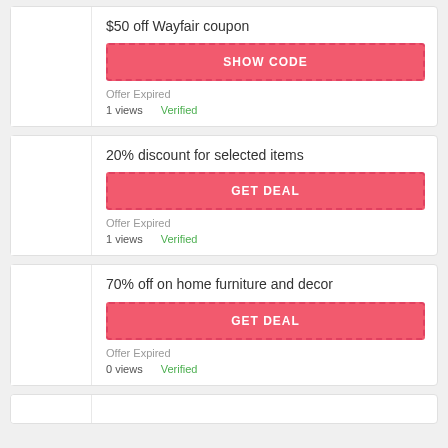$50 off Wayfair coupon
SHOW CODE
Offer Expired
1 views   Verified
20% discount for selected items
GET DEAL
Offer Expired
1 views   Verified
70% off on home furniture and decor
GET DEAL
Offer Expired
0 views   Verified